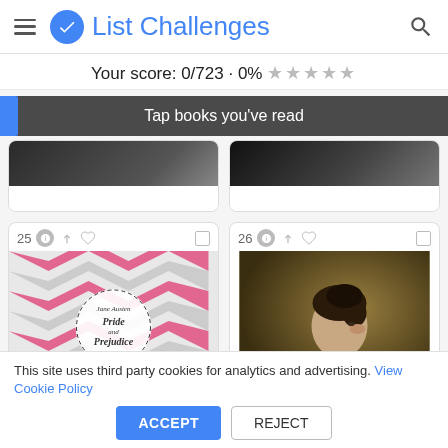List Challenges
Your score: 0/723 · 0% ★★★★★
Tap books you've read
[Figure (screenshot): Book card #25 showing 'Pride and Prejudice' by Jane Austen with chevron pattern cover]
[Figure (screenshot): Book card #26 showing a portrait painting of a woman in white dress]
This site uses third party cookies for analytics and advertising. View Cookie Policy
ACCEPT
REJECT